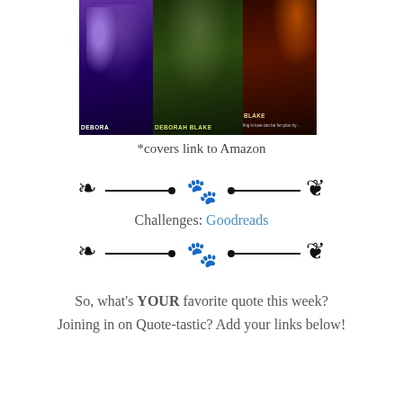[Figure (photo): Three fantasy novel book covers by Deborah Blake, showing women in action poses with supernatural themes]
*covers link to Amazon
[Figure (illustration): Decorative divider with fleur-de-lis ornaments, dots, and paw print]
Challenges: Goodreads
[Figure (illustration): Decorative divider with fleur-de-lis ornaments, dots, and paw print]
So, what's YOUR favorite quote this week?
Joining in on Quote-tastic? Add your links below!